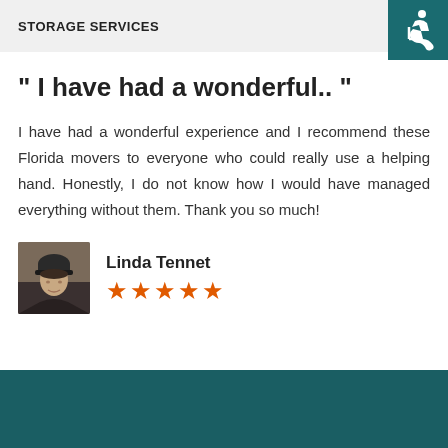STORAGE SERVICES
" I have had a wonderful.. "
I have had a wonderful experience and I recommend these Florida movers to everyone who could really use a helping hand. Honestly, I do not know how I would have managed everything without them. Thank you so much!
[Figure (photo): Profile photo of Linda Tennet, a woman wearing a dark beanie hat]
Linda Tennet
★★★★★ (5 stars)